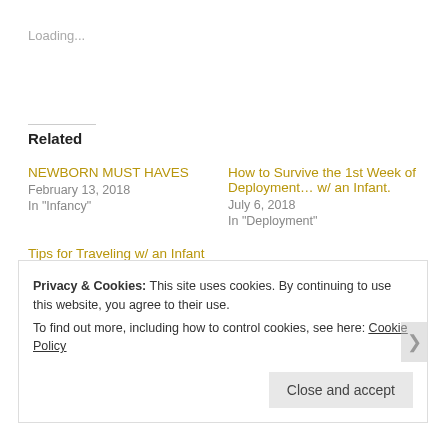Loading...
Related
NEWBORN MUST HAVES
February 13, 2018
In "Infancy"
How to Survive the 1st Week of Deployment… w/ an Infant.
July 6, 2018
In "Deployment"
Tips for Traveling w/ an Infant
June 27, 2018
In "Infancy"
Privacy & Cookies: This site uses cookies. By continuing to use this website, you agree to their use.
To find out more, including how to control cookies, see here: Cookie Policy
Close and accept